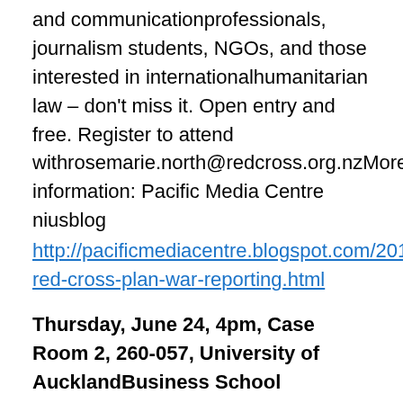and communicationprofessionals, journalism students, NGOs, and those interested in internationalhumanitarian law – don't miss it. Open entry and free. Register to attend withrosemarie.north@redcross.org.nzMore information: Pacific Media Centre niusblog
http://pacificmediacentre.blogspot.com/2010/04/pmc-red-cross-plan-war-reporting.html
Thursday, June 24, 4pm, Case Room 2, 260-057, University of AucklandBusiness School
Beware the “Insurance” Model for Unemployment Benefits: CautionaryEvidence from the Canadian Experience. Dr Jim Stanford will review thestructure and recent experience of Canada’s Employment Insurance program,considering the advantages and weaknesses of its conception as an“insurance” scheme. This experience